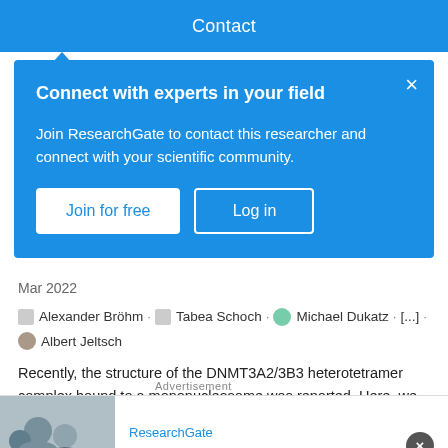Contact
Connect with experts in your field
Join ResearchGate to contact this researcher and connect with your scientific community.
Join for free | Log in
Mar 2022
Alexander Bröhm · Tabea Schoch · Michael Dukatz · [...] · Albert Jeltsch
Recently, the structure of the DNMT3A2/3B3 heterotetramer complex bound to a mononucleosome was reported. Here, we investigate DNA methylation of recombinant unmodified,
Advertisement
ResearchGate
Are you recruiting experts in physics?